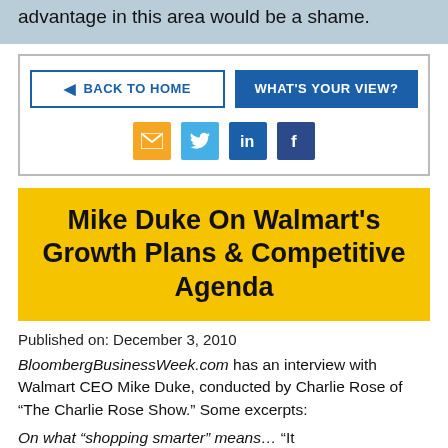advantage in this area would be a shame.
BACK TO HOME   WHAT'S YOUR VIEW?
[Figure (infographic): Social media share icons: email (orange), Twitter (light blue), LinkedIn (blue), Facebook (dark blue)]
Mike Duke On Walmart's Growth Plans & Competitive Agenda
Published on: December 3, 2010
BloombergBusinessWeek.com has an interview with Walmart CEO Mike Duke, conducted by Charlie Rose of “The Charlie Rose Show.” Some excerpts:
On what “shopping smarter” means… “It